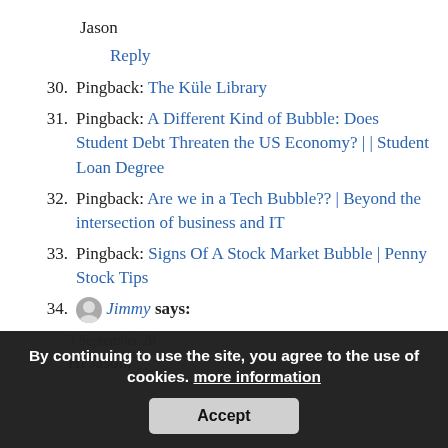Jason
Reply
30. Pingback: The Küle Library
31. Pingback: A Different Kind of Bubble: Does Student Debt Threaten the US Economy? | | Student Loan Degree
32. Pingback: Are we in a Tech Bubble?? | Beyond the intersection of business and IT
33. Pingback: Signs Of A Stock Market Bubble | Penny Stock Tips
34. [avatar] — Jimmy says:
3 September 201...
Hi Jason,
By continuing to use the site, you agree to the use of cookies. more information
Accept